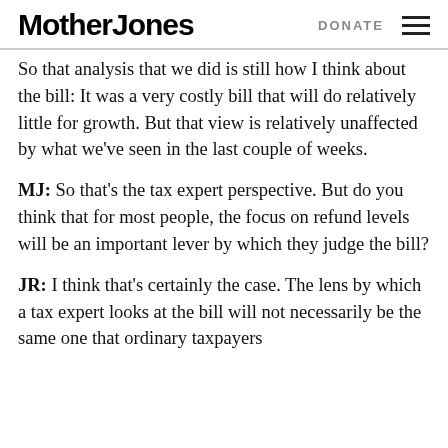Mother Jones | DONATE
So that analysis that we did is still how I think about the bill: It was a very costly bill that will do relatively little for growth. But that view is relatively unaffected by what we’ve seen in the last couple of weeks.
MJ: So that’s the tax expert perspective. But do you think that for most people, the focus on refund levels will be an important lever by which they judge the bill?
JR: I think that’s certainly the case. The lens by which a tax expert looks at the bill will not necessarily be the same one that ordinary taxpayers